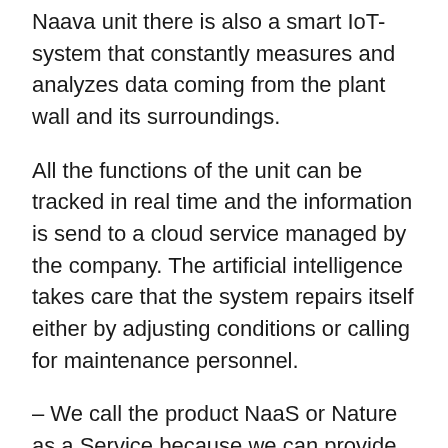Naava unit there is also a smart IoT-system that constantly measures and analyzes data coming from the plant wall and its surroundings.
All the functions of the unit can be tracked in real time and the information is send to a cloud service managed by the company. The artificial intelligence takes care that the system repairs itself either by adjusting conditions or calling for maintenance personnel.
– We call the product NaaS or Nature as a Service because we can provide all the benefits of natural, pure indoor air with minimum effort for the client.
– Basicly the Naava OS and artificial intelligence take